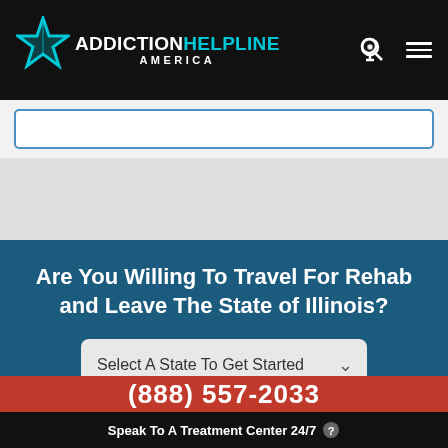[Figure (logo): Addiction Helpline America logo with teal star and text]
Are You Willing To Travel For Rehab and Leave The State of Illinois?
Select A State To Get Started
(888) 557-2033
Speak To A Treatment Center 24/7